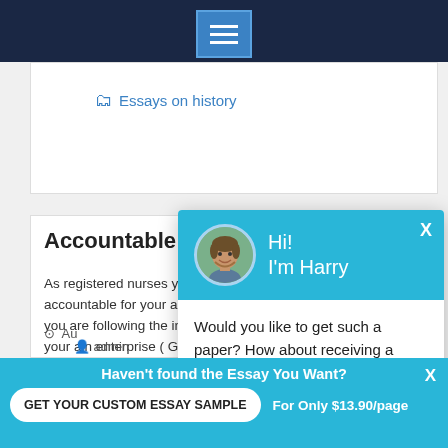Essays on history
Accountable Prac...
As registered nurses you... accountable for your act... you are following the ins... your ain enterprise ( Gri... consideration of what ar...
[Figure (screenshot): Chat popup with avatar of Harry, message: Would you like to get such a paper? How about receiving a customized one? Check it out]
admin
Haven't found the Essay You Want? GET YOUR CUSTOM ESSAY SAMPLE For Only $13.90/page